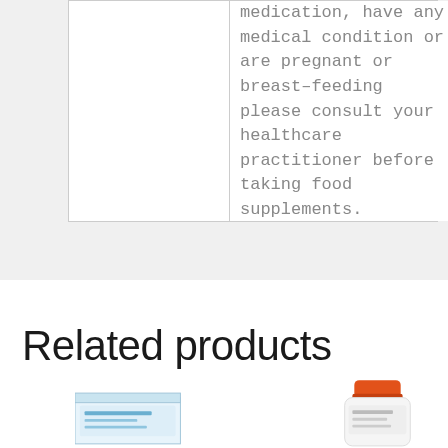|  |  |
| --- | --- |
|  | medication, have any medical condition or are pregnant or breast-feeding please consult your healthcare practitioner before taking food supplements. |
Related products
[Figure (photo): Two related health supplement products: a rectangular box product on the left and a white bottle with orange cap on the right]